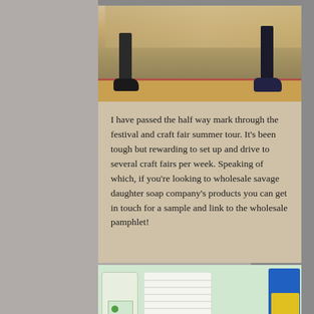[Figure (photo): Indoor scene showing people's legs and shoes, with a wooden floor and mirror in background]
I have passed the half way mark through the festival and craft fair summer tour. It's been tough but rewarding to set up and drive to several craft fairs per week. Speaking of which, if you're looking to wholesale savage daughter soap company's products you can get in touch for a sample and link to the wholesale pamphlet!
[Figure (photo): Close-up of soap products at a craft fair booth, showing soap bars in a wooden frame with colorful label, and product bottles in background. A blue circular more-options button with three dots is visible.]